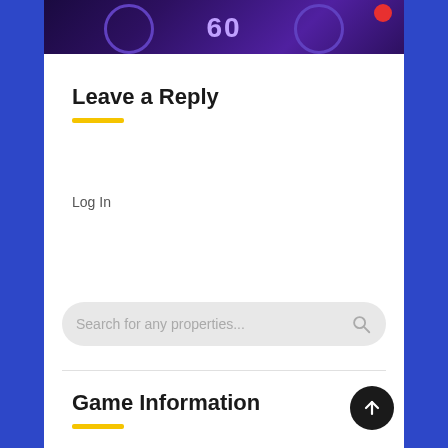[Figure (screenshot): Dark purple/blue gaming banner image at the top with decorative circles and a red notification dot]
Leave a Reply
Log In
[Figure (other): Search bar with placeholder text 'Search for any properties...' and a search icon]
Game Information